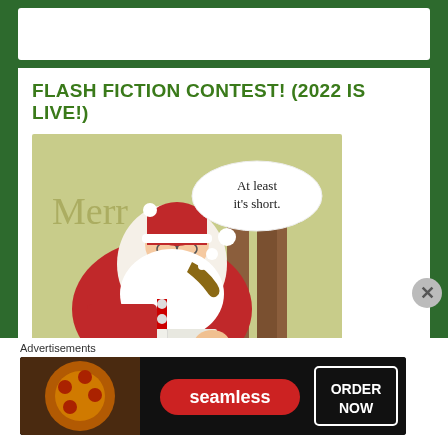FLASH FICTION CONTEST! (2022 IS LIVE!)
[Figure (illustration): Vintage Christmas card image of Santa Claus sitting in a chair reading a book, with a thought bubble saying 'At least it's short.' Text 'Merry...mas' visible in background.]
Advertisements
[Figure (screenshot): Seamless food delivery advertisement banner showing pizza slices with 'seamless' logo and 'ORDER NOW' button]